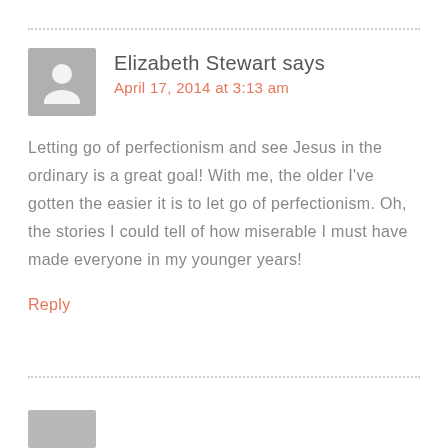Elizabeth Stewart says
April 17, 2014 at 3:13 am
Letting go of perfectionism and see Jesus in the ordinary is a great goal! With me, the older I've gotten the easier it is to let go of perfectionism. Oh, the stories I could tell of how miserable I must have made everyone in my younger years!
Reply